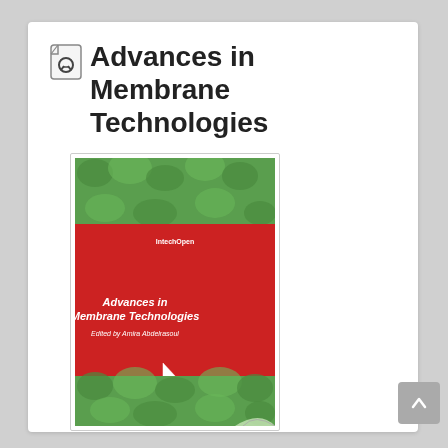Advances in Membrane Technologies
[Figure (illustration): Book cover of 'Advances in Membrane Technologies' edited by Amira Abdelrasoul. Cover shows green textured top and bottom with a red center panel containing the title and author in white text, plus an IntechOpen logo and mouse cursor icon.]
Author : Amira Abdelrasoul,Arash Mollahosseini
Publisher : BoD – Books on Demand
Release : 2020-03-04